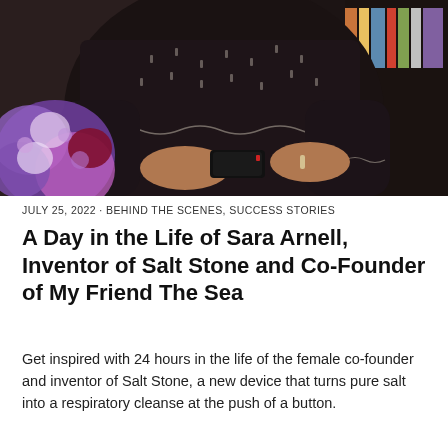[Figure (photo): A woman in a black patterned dress holding a smartphone, with purple and pink flowers in the foreground and a bookshelf in the background.]
JULY 25, 2022 · BEHIND THE SCENES, SUCCESS STORIES
A Day in the Life of Sara Arnell, Inventor of Salt Stone and Co-Founder of My Friend The Sea
Get inspired with 24 hours in the life of the female co-founder and inventor of Salt Stone, a new device that turns pure salt into a respiratory cleanse at the push of a button.